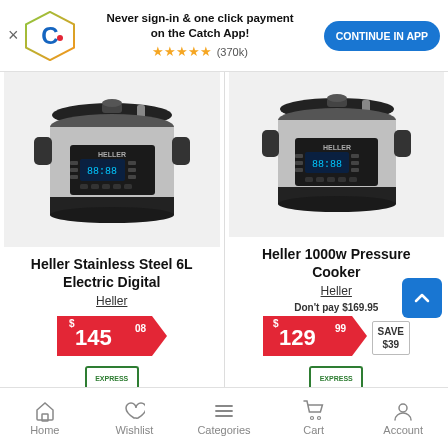[Figure (screenshot): App banner with Catch logo, text 'Never sign-in & one click payment on the Catch App!', 5 stars rating (370k reviews), and 'CONTINUE IN APP' button]
[Figure (photo): Heller Stainless Steel 6L Electric Digital Pressure Cooker product photo]
Heller Stainless Steel 6L Electric Digital
Heller
$145.08
[Figure (photo): Heller 1000w Pressure Cooker product photo]
Heller 1000w Pressure Cooker
Heller
Don't pay $169.95
$129.99 SAVE $39
Home  Wishlist  Categories  Cart  Account